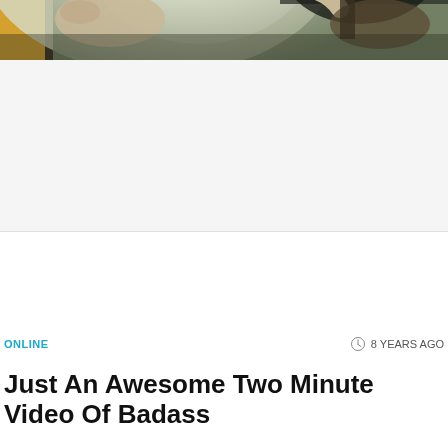[Figure (photo): Advertisement placeholder box — light gray rectangle]
[Figure (photo): Photo of a person wearing a gas mask in a smoky/hazy environment, with hands reaching out, taken inside what appears to be a vehicle or confined space with warm yellow tones on the left side.]
ONLINE
8 YEARS AGO
Just An Awesome Two Minute Video Of Badass